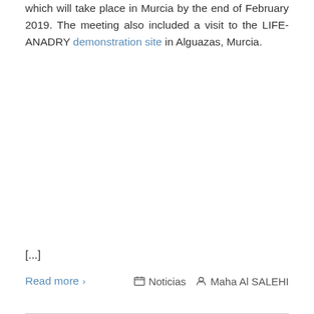which will take place in Murcia by the end of February 2019. The meeting also included a visit to the LIFE-ANADRY demonstration site in Alguazas, Murcia.
[...]
Read more ›
Noticias  Maha Al SALEHI